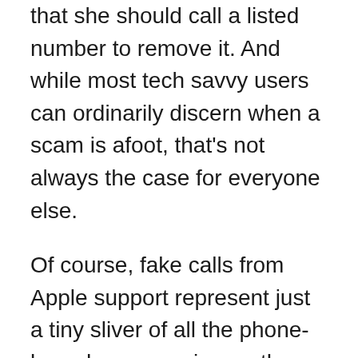that she should call a listed number to remove it. And while most tech savvy users can ordinarily discern when a scam is afoot, that's not always the case for everyone else.
Of course, fake calls from Apple support represent just a tiny sliver of all the phone-based scams going on these days. As we covered about a month ago, robocalls have sadly become something of an everyday nuisance. Suffice it to say, if you get a call from someone purporting to be from the IRS or from someone claiming to be able to get you a better health insurance plan, you'll probably want to hang up immediately.